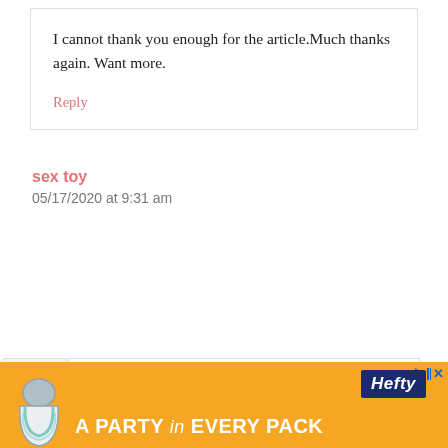I cannot thank you enough for the article.Much thanks again. Want more.
Reply
sex toy
05/17/2020 at 9:31 am
[Figure (screenshot): Orange advertisement banner for Hefty brand: 'A PARTY in EVERY PACK' with Hefty logo and bag illustration]